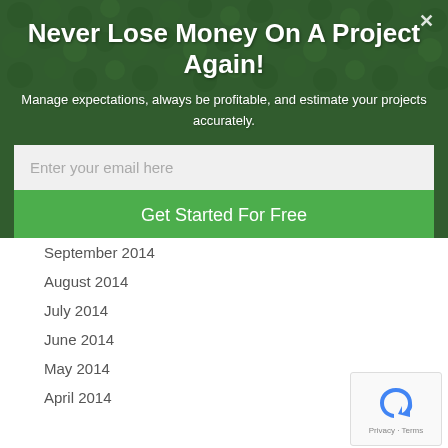Never Lose Money On A Project Again!
Manage expectations, always be profitable, and estimate your projects accurately.
Enter your email here
Get Started For Free
September 2014
August 2014
July 2014
June 2014
May 2014
April 2014